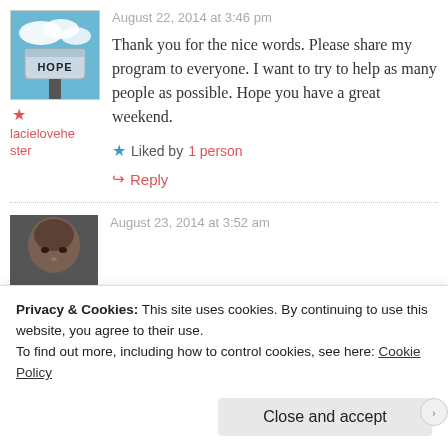[Figure (photo): Avatar image showing a mailbox with the word HOPE on it against a blue sky background]
August 22, 2014 at 3:46 pm
Thank you for the nice words. Please share my program to everyone. I want to try to help as many people as possible. Hope you have a great weekend.
lacielovehester
Liked by 1 person
Reply
[Figure (photo): Avatar photo showing a person's face, close-up]
August 23, 2014 at 3:52 am
Privacy & Cookies: This site uses cookies. By continuing to use this website, you agree to their use.
To find out more, including how to control cookies, see here: Cookie Policy
Close and accept